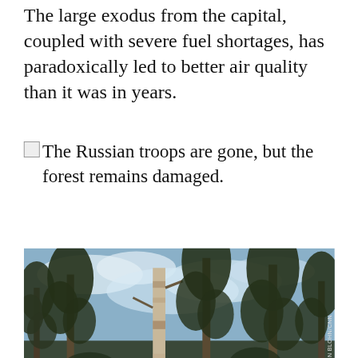The large exodus from the capital, coupled with severe fuel shortages, has paradoxically led to better air quality than it was in years.
The Russian troops are gone, but the forest remains damaged.
[Figure (photo): A photograph of tall pine trees, some with damaged trunks stripped of bark, against a cloudy sky. Photo credit: DAVID VON BLOHN/CNN]
Our site uses cookies. Learn more about our use of cookies: cookie policy
I ACCEPT USE OF COOKIES
e like to say, st. First, we
think about maybe the line of trees along